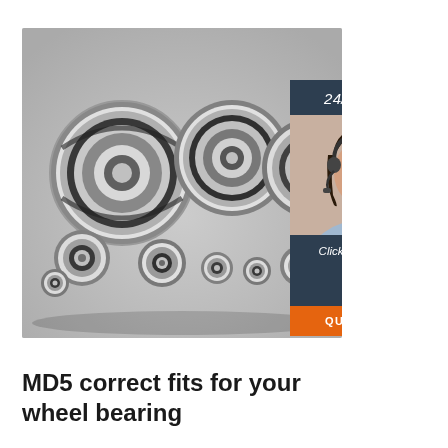[Figure (photo): Collection of various sizes of steel ball bearings and wheel bearings displayed on a light gray background, with a customer service representative panel on the right showing '24/7 Online' text, a woman with headset, 'Click here for free chat!' text, and an orange QUOTATION button.]
MD5 correct fits for your wheel bearing